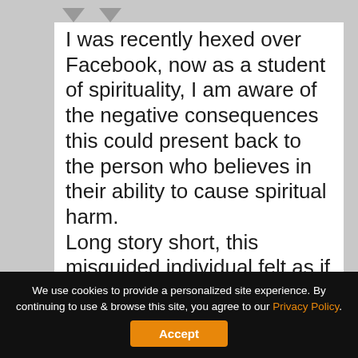I was recently hexed over Facebook, now as a student of spirituality, I am aware of the negative consequences this could present back to the person who believes in their ability to cause spiritual harm.
Long story short, this misguided individual felt as if they were being attacked/belittled for her ignorance regarding race issues. Mind you it was
We use cookies to provide a personalized site experience. By continuing to use & browse this site, you agree to our Privacy Policy. Accept